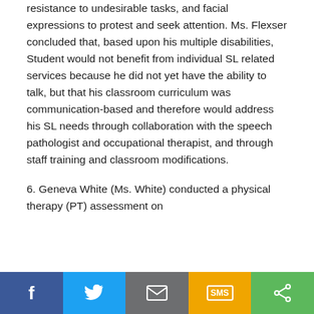resistance to undesirable tasks, and facial expressions to protest and seek attention. Ms. Flexser concluded that, based upon his multiple disabilities, Student would not benefit from individual SL related services because he did not yet have the ability to talk, but that his classroom curriculum was communication-based and therefore would address his SL needs through collaboration with the speech pathologist and occupational therapist, and through staff training and classroom modifications.
6. Geneva White (Ms. White) conducted a physical therapy (PT) assessment on
[Figure (infographic): Social sharing bar with five buttons: Facebook (blue), Twitter (light blue), Email (gray), SMS (yellow/orange), Share (green)]